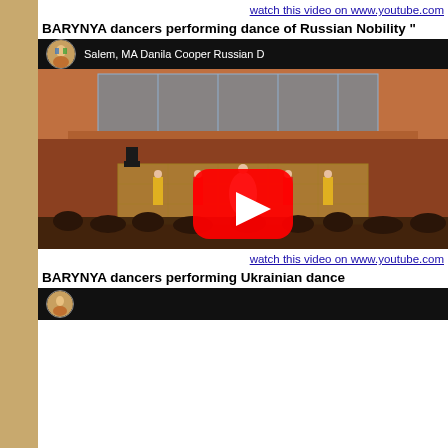watch this video on www.youtube.com
BARYNYA dancers performing dance of Russian Nobility "
[Figure (screenshot): YouTube video thumbnail showing BARYNYA Russian dance performance at Salem, MA Danila Cooper Russian Dance event. Dancers in colorful costumes performing on a stage with audience seated around, red play button overlay in center.]
watch this video on www.youtube.com
BARYNYA dancers performing Ukrainian dance